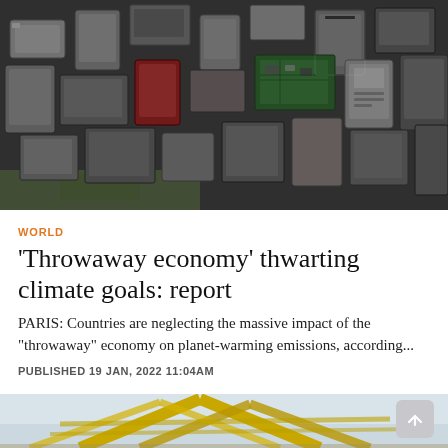[Figure (photo): Overhead view of a large pile of discarded electronic devices including mobile phones, circuit boards, and various gadgets in shades of grey, black, silver, with some green and red elements — electronic waste.]
WORLD
'Throwaway economy' thwarting climate goals: report
PARIS: Countries are neglecting the massive impact of the "throwaway" economy on planet-warming emissions, according...
PUBLISHED 19 JAN, 2022 11:04AM
[Figure (photo): Partial view of what appears to be a bridge or large yellow structural framework against a light sky background.]